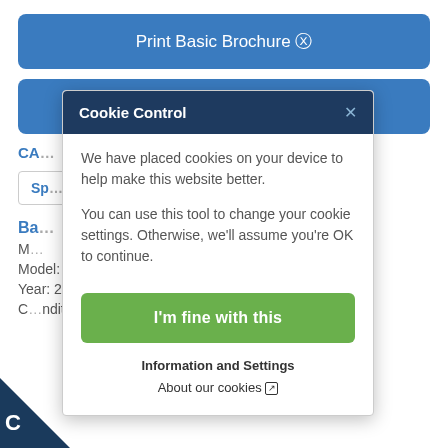[Figure (screenshot): Blue button labeled 'Print Basic Brochure' with download icon]
[Figure (screenshot): Partial blue button visible behind cookie modal]
[Figure (screenshot): Cookie Control modal dialog with header 'Cookie Control', close X button, descriptive text about cookies, 'I'm fine with this' green button, and links to 'Information and Settings' and 'About our cookies']
Model: 350 Center Console
Year: 2022
Condition: New